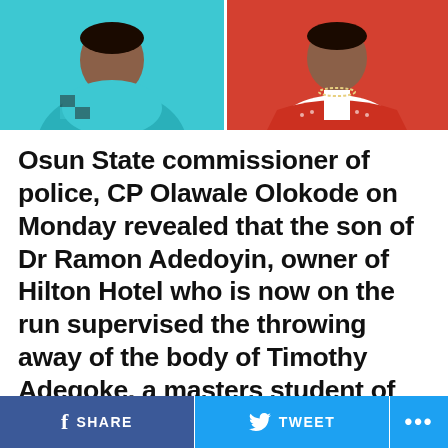[Figure (photo): Two photos side by side: left shows a person in a teal/turquoise outfit with checkered pattern, right shows a person in a red outfit with decorative neckwear]
Osun State commissioner of police, CP Olawale Olokode on Monday revealed that the son of Dr Ramon Adedoyin, owner of Hilton Hotel who is now on the run supervised the throwing away of the body of Timothy Adegoke, a masters student of Obafemi Awolowo Ile-Ife, into the bush after being found dead
f SHARE   TWEET   ...